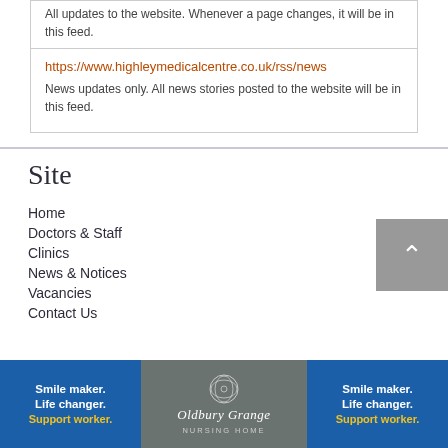All updates to the website. Whenever a page changes, it will be in this feed.
https://www.highleymedicalcentre.co.uk/rss/news
News updates only. All news stories posted to the website will be in this feed.
Site
Home
Doctors & Staff
Clinics
News & Notices
Vacancies
Contact Us
[Figure (illustration): Blue advertisement banner: 'Smile maker. Life changer. Support worker.']
[Figure (logo): Oldbury Grange Nursing Home logo on grey background]
[Figure (illustration): Blue advertisement banner: 'Smile maker. Life changer. Support worker.']